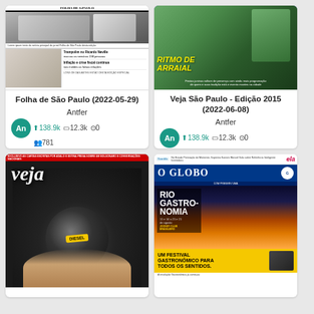[Figure (screenshot): Folha de São Paulo newspaper front page (2022-05-29) thumbnail]
Folha de São Paulo (2022-05-29)
Antfer
138.9k  12.3k  0  781
[Figure (screenshot): Veja São Paulo Edição 2015 magazine cover (2022-06-08) - RITMO DE ARRAIAL]
Veja São Paulo - Edição 2015 (2022-06-08)
Antfer
138.9k  12.3k  0  781
[Figure (screenshot): Veja magazine cover with DIESEL fuel cap image]
[Figure (screenshot): O Globo newspaper front page with RIO GASTRONOMIA festival]